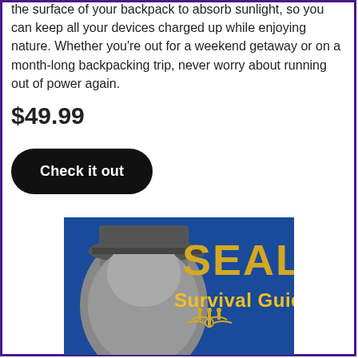the surface of your backpack to absorb sunlight, so you can keep all your devices charged up while enjoying nature. Whether you're out for a weekend getaway or on a month-long backpacking trip, never worry about running out of power again.
$49.99
Check it out
[Figure (photo): Book cover for 'SEAL Survival Guide' with blue background, gold text, a person's face partially visible, and a Navy SEAL trident emblem.]